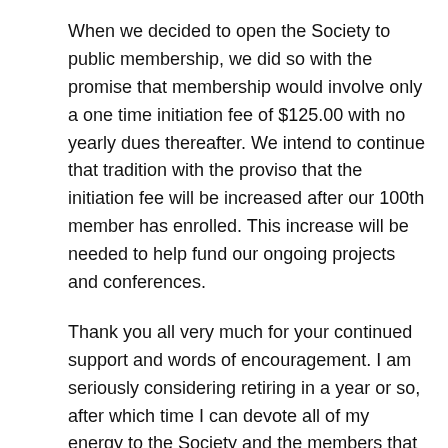When we decided to open the Society to public membership, we did so with the promise that membership would involve only a one time initiation fee of $125.00 with no yearly dues thereafter. We intend to continue that tradition with the proviso that the initiation fee will be increased after our 100th member has enrolled. This increase will be needed to help fund our ongoing projects and conferences.
Thank you all very much for your continued support and words of encouragement. I am seriously considering retiring in a year or so, after which time I can devote all of my energy to the Society and the members that are a part of it.
Ben Costello, Director.